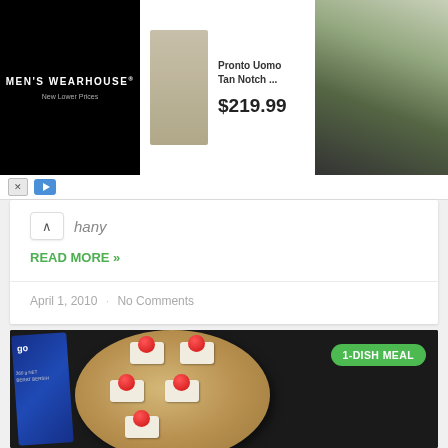[Figure (screenshot): Men's Wearhouse advertisement banner with product listing for 'Pronto Uomo Tan Notch...' at $219.99, showing a man in a tan suit and a couple in formal wear]
hany
READ MORE »
April 1, 2010 · No Comments
[Figure (photo): Food photo showing sandwich rolls/wraps topped with cherry tomatoes on a wooden oval cutting board, with a blue food packaging bag visible on the left. Green badge reads '1-DISH MEAL']